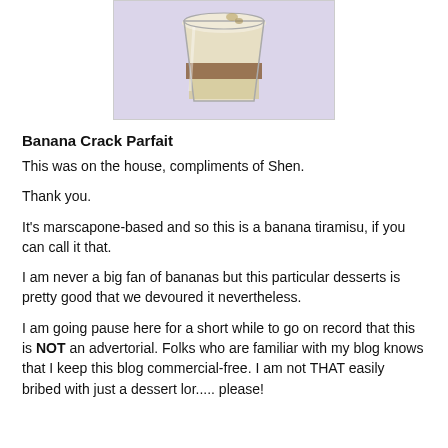[Figure (photo): Photo of a banana parfait dessert in a glass cup, showing layered creamy dessert with a lavender/purple background]
Banana Crack Parfait
This was on the house, compliments of Shen.
Thank you.
It's marscapone-based and so this is a banana tiramisu, if you can call it that.
I am never a big fan of bananas but this particular desserts is pretty good that we devoured it nevertheless.
I am going pause here for a short while to go on record that this is NOT an advertorial. Folks who are familiar with my blog knows that I keep this blog commercial-free. I am not THAT easily bribed with just a dessert lor..... please!